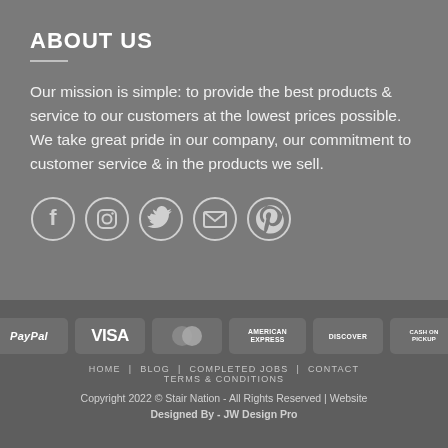ABOUT US
Our mission is simple: to provide the best products & service to our customers at the lowest prices possible. We take great pride in our company, our commitment to customer service & in the products we sell.
[Figure (infographic): Row of 5 social media icon circles: Facebook, Instagram, Twitter, Email, Pinterest]
[Figure (infographic): Payment method badges: PayPal, VISA, MasterCard, American Express, Discover, Cash On Pickup]
HOME  BLOG  COMPLETED JOBS  CONTACT  TERMS & CONDITIONS
Copyright 2022 © Stair Nation - All Rights Reserved | Website Designed By - JW Design Pro